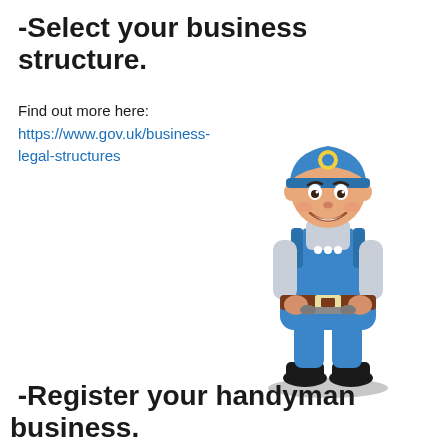-Select your business structure.
Find out more here:  https://www.gov.uk/business-legal-structures
[Figure (illustration): Cartoon illustration of a smiling handyman wearing blue dungarees, a blue cap with a badge, grey long-sleeve shirt, holding a wrench, standing on a shadow ellipse.]
-Register your handyman business.